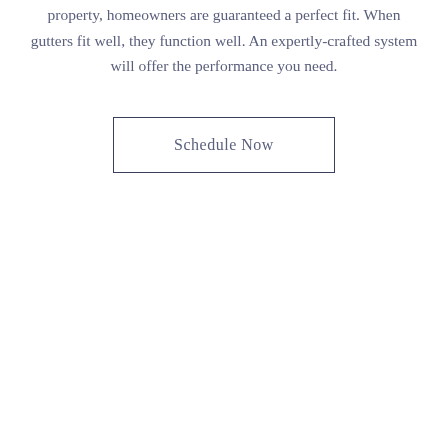property, homeowners are guaranteed a perfect fit. When gutters fit well, they function well. An expertly-crafted system will offer the performance you need.
Schedule Now